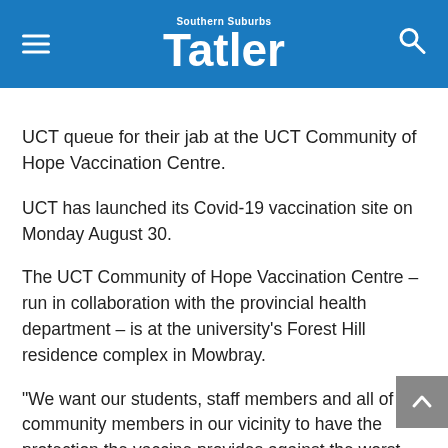Southern Suburbs Tatler
UCT queue for their jab at the UCT Community of Hope Vaccination Centre.
UCT has launched its Covid-19 vaccination site on Monday August 30.
The UCT Community of Hope Vaccination Centre – run in collaboration with the provincial health department – is at the university's Forest Hill residence complex in Mowbray.
“We want our students, staff members and all of the community members in our vicinity to have the protection the vaccine provides against the worst possible effects of Covid-